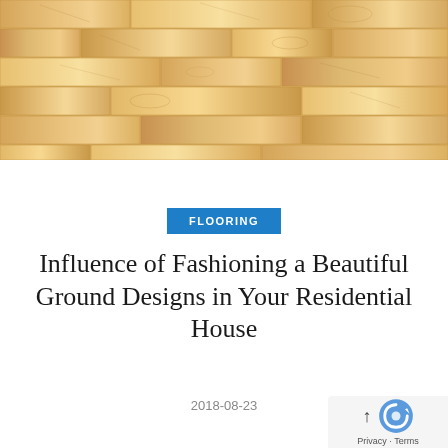[Figure (photo): Horizontal wood plank flooring photo in warm golden/tan tones, showing natural wood grain and plank seams]
FLOORING
Influence of Fashioning a Beautiful Ground Designs in Your Residential House
2018-08-23